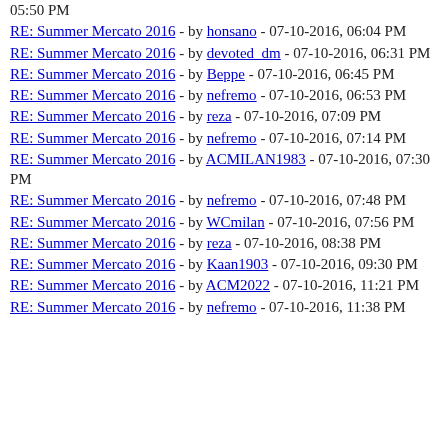05:50 PM
RE: Summer Mercato 2016 - by honsano - 07-10-2016, 06:04 PM
RE: Summer Mercato 2016 - by devoted_dm - 07-10-2016, 06:31 PM
RE: Summer Mercato 2016 - by Beppe - 07-10-2016, 06:45 PM
RE: Summer Mercato 2016 - by nefremo - 07-10-2016, 06:53 PM
RE: Summer Mercato 2016 - by reza - 07-10-2016, 07:09 PM
RE: Summer Mercato 2016 - by nefremo - 07-10-2016, 07:14 PM
RE: Summer Mercato 2016 - by ACMILAN1983 - 07-10-2016, 07:30 PM
RE: Summer Mercato 2016 - by nefremo - 07-10-2016, 07:48 PM
RE: Summer Mercato 2016 - by WCmilan - 07-10-2016, 07:56 PM
RE: Summer Mercato 2016 - by reza - 07-10-2016, 08:38 PM
RE: Summer Mercato 2016 - by Kaan1903 - 07-10-2016, 09:30 PM
RE: Summer Mercato 2016 - by ACM2022 - 07-10-2016, 11:21 PM
RE: Summer Mercato 2016 - by nefremo - 07-10-2016, 11:38 PM